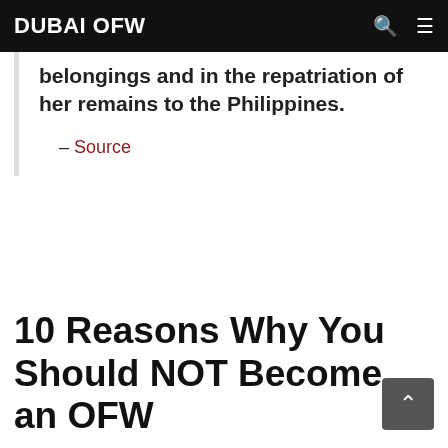DUBAI OFW
belongings and in the repatriation of her remains to the Philippines.
– Source
10 Reasons Why You Should NOT Become an OFW